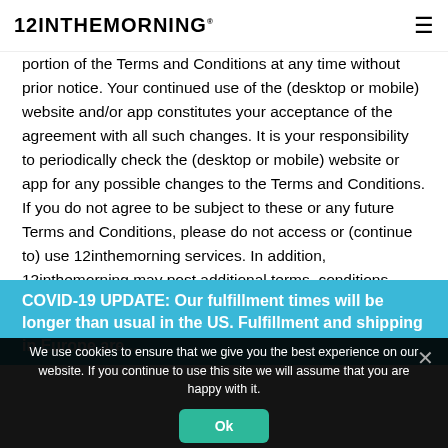12INTHEMORNING
portion of the Terms and Conditions at any time without prior notice. Your continued use of the (desktop or mobile) website and/or app constitutes your acceptance of the agreement with all such changes. It is your responsibility to periodically check the (desktop or mobile) website or app for any possible changes to the Terms and Conditions. If you do not agree to be subject to these or any future Terms and Conditions, please do not access or (continue to) use 12inthemorning services. In addition, 12inthemorning may post additional terms, conditions, rules or requirements related to the (desktop or mobile) website.
COVID-19 UPDATE: Our fulfillment times will be longer than usual in the US. Fulfillment and shipping in Europe are...
We use cookies to ensure that we give you the best experience on our website. If you continue to use this site we will assume that you are happy with it.